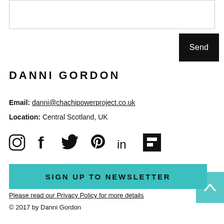[Figure (screenshot): Textarea input box for message]
Send
DANNI GORDON
Email: danni@chachipowerproject.co.uk
Location: Central Scotland, UK
[Figure (infographic): Social media icons: Instagram, Facebook, Twitter, Pinterest, LinkedIn, Flipboard]
SIGN UP TO NEWSLETTER
Please read our Privacy Policy for more details
© 2017 by Danni Gordon